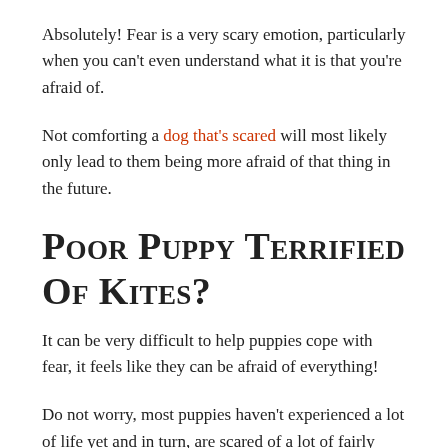Absolutely! Fear is a very scary emotion, particularly when you can't even understand what it is that you're afraid of.
Not comforting a dog that's scared will most likely only lead to them being more afraid of that thing in the future.
Poor Puppy Terrified Of Kites?
It can be very difficult to help puppies cope with fear, it feels like they can be afraid of everything!
Do not worry, most puppies haven't experienced a lot of life yet and in turn, are scared of a lot of fairly basic objects.